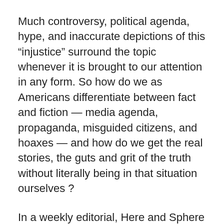Much controversy, political agenda, hype, and inaccurate depictions of this “injustice” surround the topic whenever it is brought to our attention in any form. So how do we as Americans differentiate between fact and fiction — media agenda, propaganda, misguided citizens, and hoaxes — and how do we get the real stories, the guts and grit of the truth without literally being in that situation ourselves ?
In a weekly editorial, Here and Sphere will cautiously report one brave, wounded, forgotten, scared for his life, stop-loss soldier’s story. Though we can not completely vouch for it’s full accuracy — we will deliver this soldier’s encrypted letters, each with all its